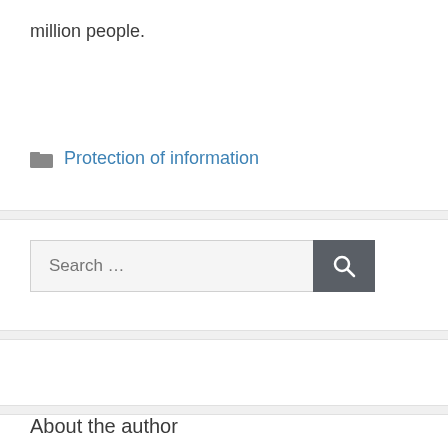million people.
Protection of information
Search ...
About the author